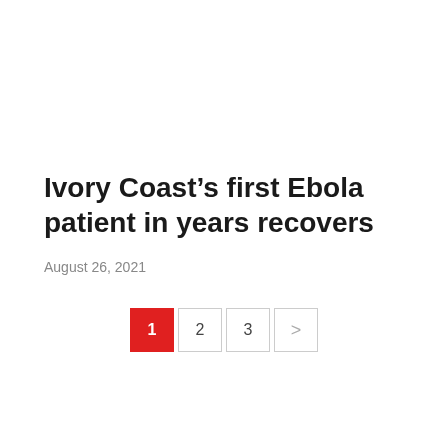Ivory Coast’s first Ebola patient in years recovers
August 26, 2021
[Figure (other): Pagination controls showing page buttons 1 (active, red), 2, 3, and a next arrow (>)]